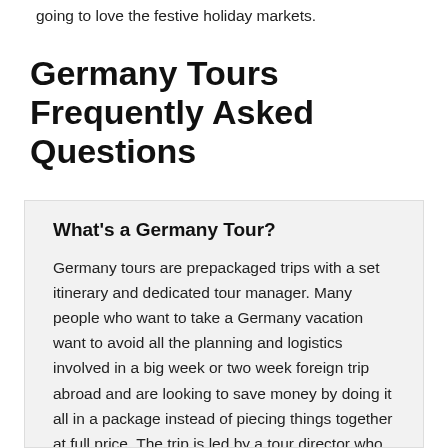going to love the festive holiday markets.
Germany Tours Frequently Asked Questions
What's a Germany Tour?
Germany tours are prepackaged trips with a set itinerary and dedicated tour manager. Many people who want to take a Germany vacation want to avoid all the planning and logistics involved in a big week or two week foreign trip abroad and are looking to save money by doing it all in a package instead of piecing things together at full price. The trip is led by a tour director who will take care of all the services from beginning to the end of your vacation. Your tour director connects you with local tour guides who will have a lot of knowledge on the specific cities you explore. Typically, hotels, transportation throughout your trip, some meals and sightseeing are arranged and included with the